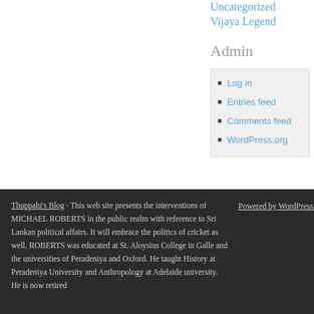Uncategorized
Vijaya Legend
Admin
Log in
Entries feed
Comments feed
WordPress.org
Thuppahi's Blog · This web site presents the interventions of MICHAEL ROBERTS in the public realm with reference to Sri Lankan political affairs. It will embrace the politics of cricket as well. ROBERTS was educated at St. Aloysius College in Galle and the universities of Peradeniya and Oxford. He taught History at Peradeniya University and Anthropology at Adelaide university. He is now retired
Powered by WordPress.com.